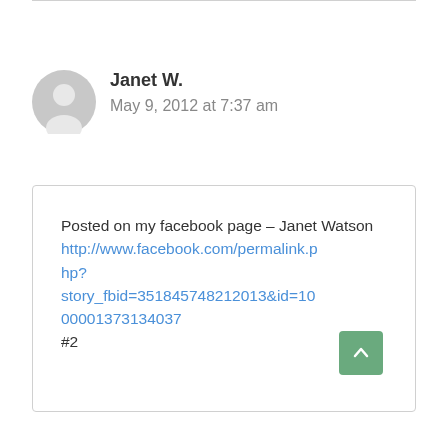Janet W.
May 9, 2012 at 7:37 am
Posted on my facebook page – Janet Watson
http://www.facebook.com/permalink.php?story_fbid=351845748212013&id=100001373134037
#2